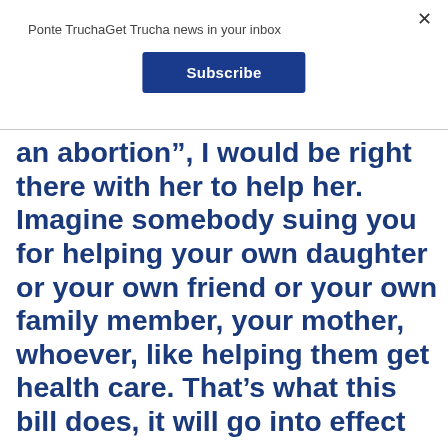Ponte TruchaGet Trucha news in your inbox
Subscribe
an abortion”, I would be right there with her to help her. Imagine somebody suing you for helping your own daughter or your own friend or your own family member, your mother, whoever, like helping them get health care. That’s what this bill does, it will go into effect on September 1st. We’re in...